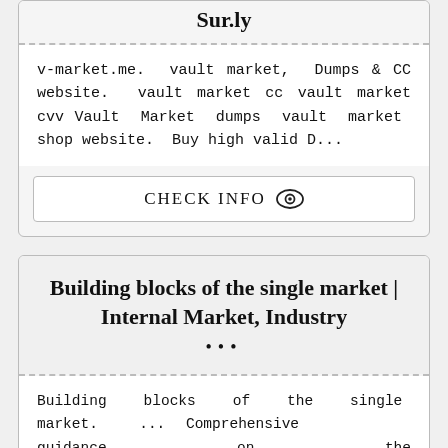Sur.ly
v-market.me. vault market, Dumps & CC website. vault market cc vault market cvv Vault Market dumps vault market shop website. Buy high valid D...
CHECK INFO
Building blocks of the single market | Internal Market, Industry
...
Building blocks of the single market. ... Comprehensive guidance on the implementation of EU product rules can be found in the so-called Blue Guide (2 MB).